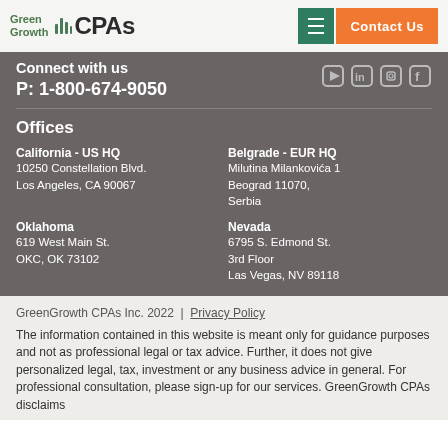Green Growth CPAs — navigation header with logo, menu button and Contact Us button
Connect with us
P: 1-800-674-9050
Offices
California - US HQ
10250 Constellation Blvd.
Los Angeles, CA 90067
Belgrade - EUR HQ
Milutina Milankovića 1
Beograd 11070,
Serbia
Oklahoma
619 West Main St.
OKC, OK 73102
Nevada
6795 S. Edmond St.
3rd Floor
Las Vegas, NV 89118
GreenGrowth CPAs Inc. 2022  |  Privacy Policy
The information contained in this website is meant only for guidance purposes and not as professional legal or tax advice. Further, it does not give personalized legal, tax, investment or any business advice in general. For professional consultation, please sign-up for our services. GreenGrowth CPAs disclaims